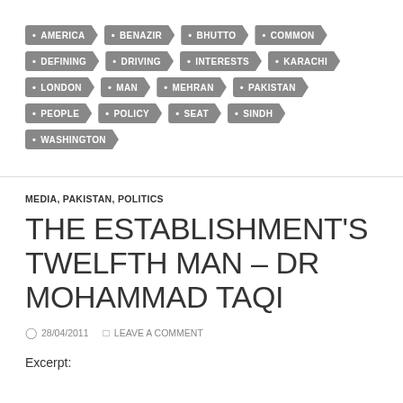AMERICA
BENAZIR
BHUTTO
COMMON
DEFINING
DRIVING
INTERESTS
KARACHI
LONDON
MAN
MEHRAN
PAKISTAN
PEOPLE
POLICY
SEAT
SINDH
WASHINGTON
MEDIA, PAKISTAN, POLITICS
THE ESTABLISHMENT'S TWELFTH MAN – DR MOHAMMAD TAQI
28/04/2011   LEAVE A COMMENT
Excerpt: